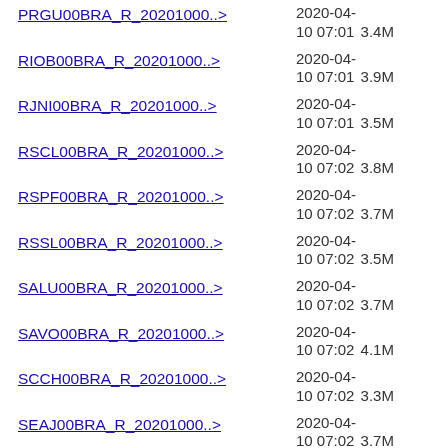PRGU00BRA_R_20201000..> 2020-04-10 07:01 3.4M
RIOB00BRA_R_20201000..> 2020-04-10 07:01 3.9M
RJNI00BRA_R_20201000..> 2020-04-10 07:01 3.5M
RSCL00BRA_R_20201000..> 2020-04-10 07:02 3.8M
RSPF00BRA_R_20201000..> 2020-04-10 07:02 3.7M
RSSL00BRA_R_20201000..> 2020-04-10 07:02 3.5M
SALU00BRA_R_20201000..> 2020-04-10 07:02 3.7M
SAVO00BRA_R_20201000..> 2020-04-10 07:02 4.1M
SCCH00BRA_R_20201000..> 2020-04-10 07:02 3.3M
SEAJ00BRA_R_20201000..> 2020-04-10 07:02 3.7M
SJSP00BRA_R_20201000..> 2020-04-10 07:02 3.7M